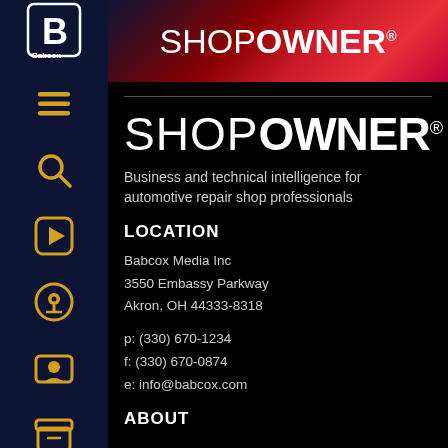[Figure (logo): Babcox Media logo (B letter mark) in white on dark navy background in sidebar]
SHOPOWNER
[Figure (logo): ShopOwner logo — SHOP in light weight, OWNER in bold, white text on black background]
Business and technical intelligence for automotive repair shop professionals
LOCATION
Babcox Media Inc
3550 Embassy Parkway
Akron, OH 44333-8318

p: (330) 670-1234
f: (330) 670-0874
e: info@babcox.com
ABOUT